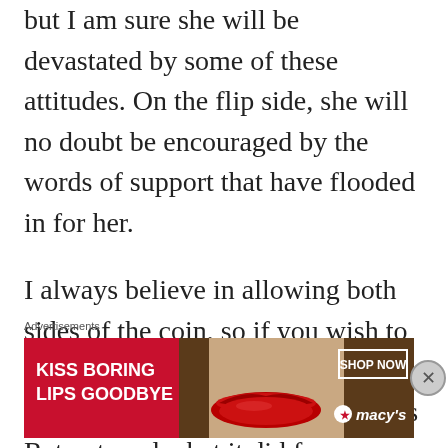but I am sure she will be devastated by some of these attitudes. On the flip side, she will no doubt be encouraged by the words of support that have flooded in for her.
I always believe in allowing both sides of the coin, so if you wish to provide a counter-article of your own opinion and experience of this Retreat, and what it did for you as
Advertisements
[Figure (photo): Advertisement banner for Macy's lipstick: 'KISS BORING LIPS GOODBYE' with a woman's face showing red lips, and a 'SHOP NOW' button with Macy's logo.]